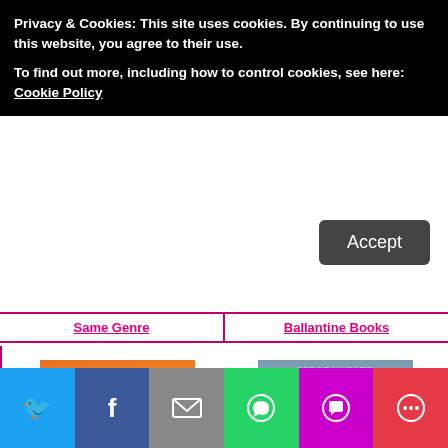Privacy & Cookies: This site uses cookies. By continuing to use this website, you agree to their use.
To find out more, including how to control cookies, see here:
Cookie Policy
Accept
Same Genre
Ballantine Books
[Figure (illustration): Book cover of Songbirds by Christy Lefteri — orange/red gradient background with birds and script title]
Songbirds by Christi Lefteri
[Figure (illustration): Book cover of An Island at War by Deborah Carr — moody coastal scene with figure on hillside]
An Island at War by Deborah Carr
[Figure (illustration): Partial book cover — blue/teal tones, author Sara Abraham]
[Figure (illustration): Partial book cover — At Home by AM Weaver, warm tones]